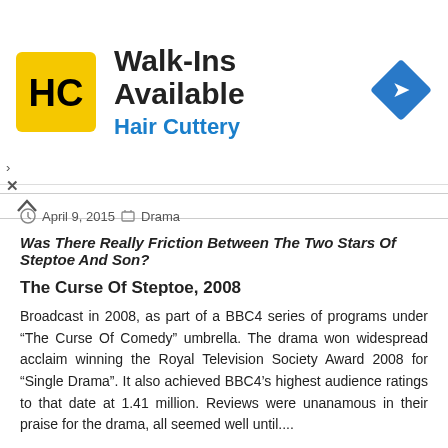[Figure (logo): Hair Cuttery advertisement banner with HC logo, 'Walk-Ins Available' headline, 'Hair Cuttery' subtext in blue, and a blue diamond-shaped arrow icon]
April 9, 2015  Drama
Was There Really Friction Between The Two Stars Of Steptoe And Son?
The Curse Of Steptoe, 2008
Broadcast in 2008, as part of a BBC4 series of programs under “The Curse Of Comedy” umbrella.  The drama won widespread acclaim winning the Royal Television Society Award 2008 for “Single Drama”.  It also achieved BBC4’s highest audience ratings to that date at 1.41 million.  Reviews were unanamous in their praise for the drama, all seemed well until....
Following the broadcast, Harry H. Corbett’s nephew from his second marriage released a statement which claimed the drama was inaccurate and defamatory.  There were claims of “numerous factual errors” in addition, he claimed that the two actors did not